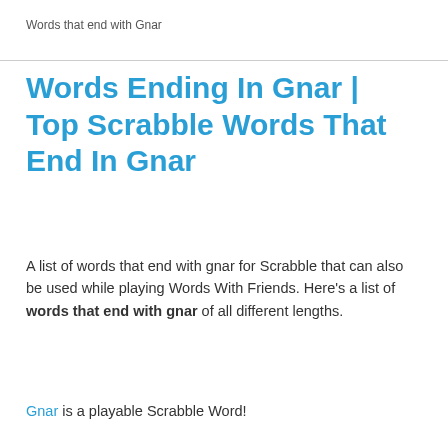Words that end with Gnar
Words Ending In Gnar | Top Scrabble Words That End In Gnar
A list of words that end with gnar for Scrabble that can also be used while playing Words With Friends. Here's a list of words that end with gnar of all different lengths.
Gnar is a playable Scrabble Word!